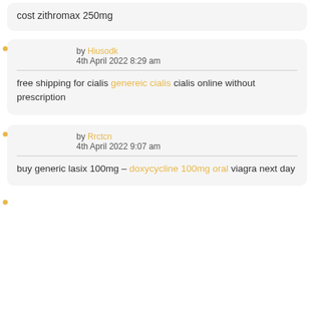cost zithromax 250mg
by Hiusodk
4th April 2022  8:29 am
free shipping for cialis genereic cialis cialis online without prescription
by Rrctcn
4th April 2022  9:07 am
buy generic lasix 100mg – doxycycline 100mg oral viagra next day